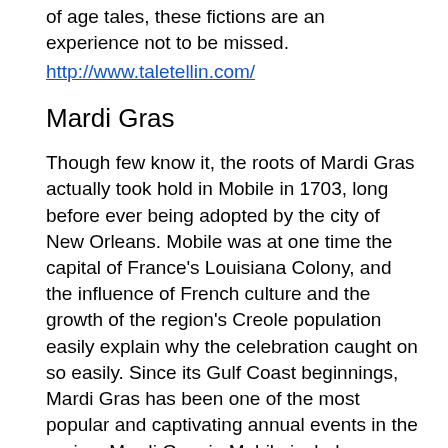of age tales, these fictions are an experience not to be missed.
http://www.taletellin.com/
Mardi Gras
Though few know it, the roots of Mardi Gras actually took hold in Mobile in 1703, long before ever being adopted by the city of New Orleans. Mobile was at one time the capital of France's Louisiana Colony, and the influence of French culture and the growth of the region's Creole population easily explain why the celebration caught on so easily. Since its Gulf Coast beginnings, Mardi Gras has been one of the most popular and captivating annual events in the region. Mardi Gras in Mobile includes colorful parades, elegant balls and pageants, and elaborate street fairs featuring dazzling performers and intricate, vivid costumes. America's family-friendly Mardi Gras, the